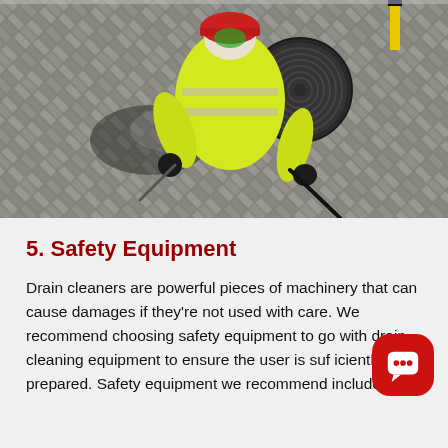[Figure (photo): Aerial/overhead view of a worker in a bright yellow high-visibility jacket and red hard hat, leaning over a manhole cover on a herringbone-patterned brick pavement, using drain cleaning equipment.]
5. Safety Equipment
Drain cleaners are powerful pieces of machinery that can cause damages if they're not used with care. We recommend choosing safety equipment to go with drain cleaning equipment to ensure the user is sufficiently prepared. Safety equipment we recommend includes: